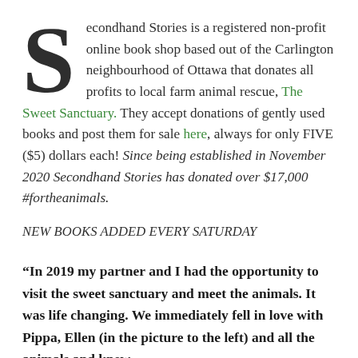Secondhand Stories is a registered non-profit online book shop based out of the Carlington neighbourhood of Ottawa that donates all profits to local farm animal rescue, The Sweet Sanctuary. They accept donations of gently used books and post them for sale here, always for only FIVE ($5) dollars each! Since being established in November 2020 Secondhand Stories has donated over $17,000 #fortheanimals.
NEW BOOKS ADDED EVERY SATURDAY
“In 2019 my partner and I had the opportunity to visit the sweet sanctuary and meet the animals. It was life changing. We immediately fell in love with Pippa, Ellen (in the picture to the left) and all the animals and knew